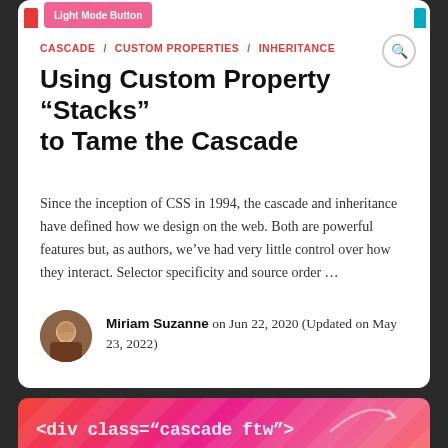Light Mode Button
CASCADE / CUSTOM PROPERTIES / INHERITANCE
Using Custom Property “Stacks” to Tame the Cascade
Since the inception of CSS in 1994, the cascade and inheritance have defined how we design on the web. Both are powerful features but, as authors, we’ve had very little control over how they interact. Selector specificity and source order …
Miriam Suzanne on Jun 22, 2020 (Updated on May 23, 2022)
[Figure (illustration): Pink-to-red gradient card with diagonal stripe pattern and white monospace code text reading: div class="cascade ftw">]